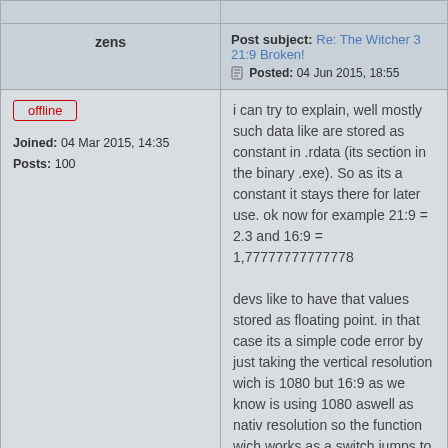| User | Post |
| --- | --- |
| zens | Post subject: Re: The Witcher 3 21:9 Broken!
Posted: 04 Jun 2015, 18:55 |
| offline
Joined: 04 Mar 2015, 14:35
Posts: 100 | i can try to explain, well mostly such data like are stored as constant in .rdata (its section in the binary .exe). So as its a constant it stays there for later use. ok now for example 21:9 = 2.3 and 16:9 = 1,77777777777778
devs like to have that values stored as floating point. in that case its a simple code error by just taking the vertical resolution wich is 1080 but 16:9 as we know is using 1080 aswell as nativ resolution so the function wich works as a switch jumps to the stored value for 16:9 wich is 1.7 but we need 2.3... here is snipped of that switch:
[Image] |